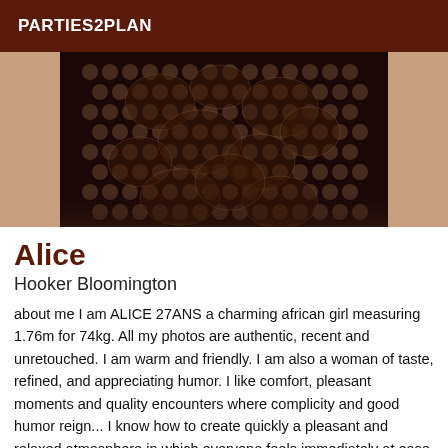PARTIES2PLAN
[Figure (photo): Cropped photo showing a person wearing a dark lace/fishnet bodysuit or top, close-up torso view]
Alice
Hooker Bloomington
about me I am ALICE 27ANS a charming african girl measuring 1.76m for 74kg. All my photos are authentic, recent and unretouched. I am warm and friendly. I am also a woman of taste, refined, and appreciating humor. I like comfort, pleasant moments and quality encounters where complicity and good humor reign... I know how to create quickly a pleasant and relaxed atmosphere in which everyone feels immediately at ease. No form of deviance or vulgarity will be accepted . I particularly appreciate distinguished, courteous and well-educated people and, as an occasional independent person, I